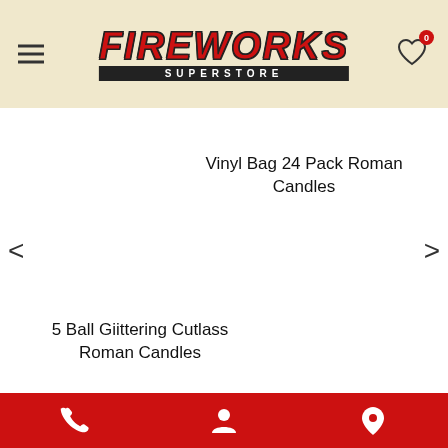FIREWORKS SUPERSTORE — navigation header with hamburger menu and wishlist icon (0 items)
Vinyl Bag 24 Pack Roman Candles
5 Ball Giittering Cutlass Roman Candles
Huge Selection
Something for Everyone
Phone | Account | Location icons